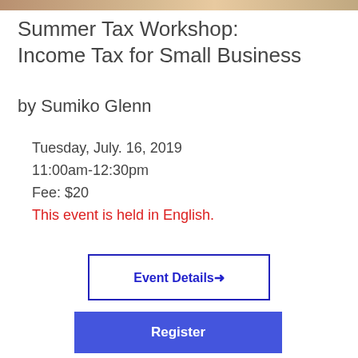[Figure (photo): Partial view of a photo at the top of the page, cropped]
Summer Tax Workshop: Income Tax for Small Business
by Sumiko Glenn
Tuesday, July. 16, 2019
11:00am-12:30pm
Fee: $20
This event is held in English.
[Figure (other): Event Details button with blue border and blue text with arrow]
[Figure (other): Register button with blue background and white text]
[Figure (photo): Photo of a hand holding a pen writing on paper, partially visible at the bottom of the page]